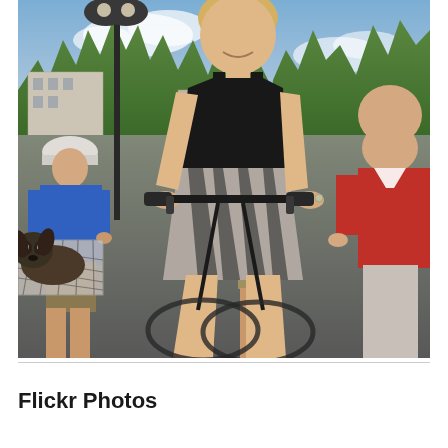[Figure (photo): Outdoor photo of a smiling blonde woman wearing sunglasses and a black dress with zebra-print skirt, riding a bicycle with a small dog in a basket/cargo net on the front. Other cyclists visible in background including a man in a blue shirt with a white helmet on the left, a person in a red jacket on the right, and a person in a green shirt/teal helmet in the middle background. Urban street scene with trees, lamp post, and buildings visible.]
Flickr Photos